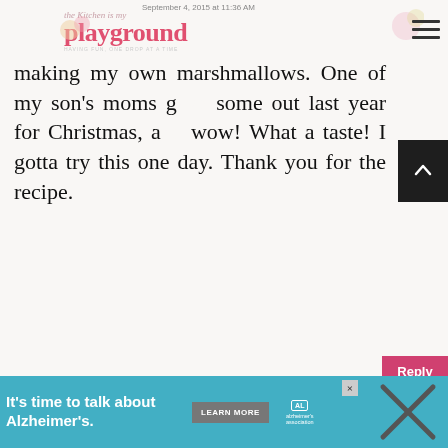September 4, 2015 at 11:36 AM — The Kitchen Is My Playground
making my own marshmallows. One of my son's moms gave some out last year for Christmas, and wow! What a taste! I gotta try this one day. Thank you for the recipe.
Reply
Tracey @ The Kitchen Is My Playground
September 5, 2015 at 12:22 PM
WHAT'S NEXT → Homemade Chocolate...
That's exactly what I thought, the
It's time to talk about Alzheimer's.
LEARN MORE